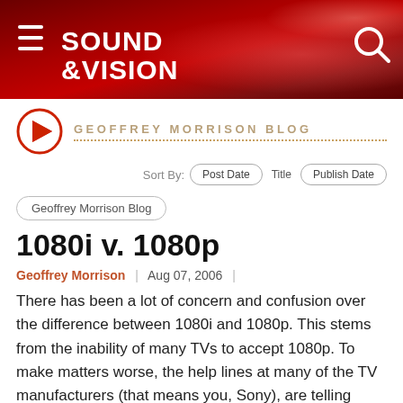[Figure (logo): Sound & Vision magazine header banner with red gradient background, hamburger menu icon on left, 'SOUND &VISION' logo text in white, and search icon on right]
GEOFFREY MORRISON BLOG
Sort By:
Post Date
Title
Publish Date
Geoffrey Morrison Blog
1080i v. 1080p
Geoffrey Morrison  |  Aug 07, 2006  |
There has been a lot of concern and confusion over the difference between 1080i and 1080p. This stems from the inability of many TVs to accept 1080p. To make matters worse, the help lines at many of the TV manufacturers (that means you, Sony), are telling people that their newly-bought 1080p displays are